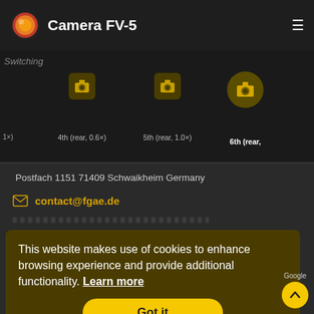Camera FV-5
[Figure (screenshot): Camera selection strip showing camera icons with labels: 4th (rear, 0.6x), 5th (rear, 1.0x), 6th (rear, partial)]
Postfach 1151 71409 Schwaikheim Germany
contact@fgae.de
This website makes use of cookies to enhance browsing experience and provide additional functionality. Learn more
Got it